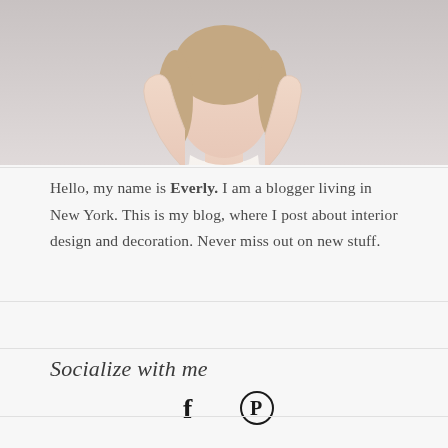[Figure (photo): Close-up photo of a woman in a white shirt against a light background]
Hello, my name is Everly. I am a blogger living in New York. This is my blog, where I post about interior design and decoration. Never miss out on new stuff.
Socialize with me
[Figure (illustration): Social media icons: Facebook (f) and Pinterest (P) icons]